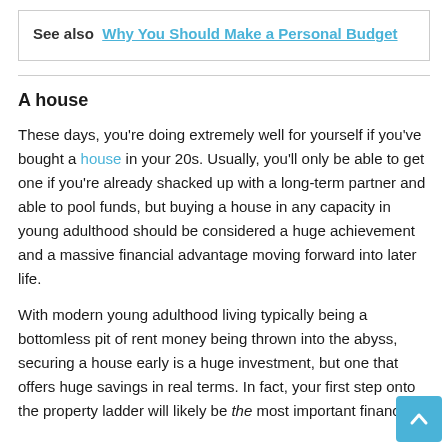See also  Why You Should Make a Personal Budget
A house
These days, you're doing extremely well for yourself if you've bought a house in your 20s. Usually, you'll only be able to get one if you're already shacked up with a long-term partner and able to pool funds, but buying a house in any capacity in young adulthood should be considered a huge achievement and a massive financial advantage moving forward into later life.
With modern young adulthood living typically being a bottomless pit of rent money being thrown into the abyss, securing a house early is a huge investment, but one that offers huge savings in real terms. In fact, your first step onto the property ladder will likely be the most important financial